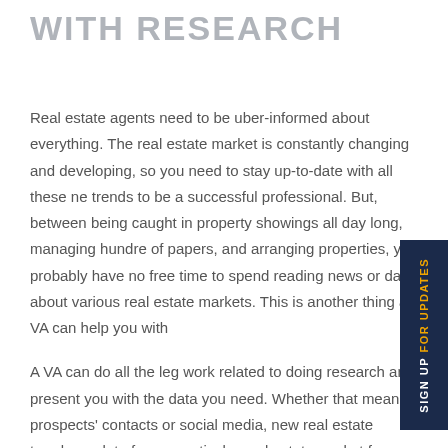WITH RESEARCH
Real estate agents need to be uber-informed about everything. The real estate market is constantly changing and developing, so you need to stay up-to-date with all these new trends to be a successful professional. But, between being caught in property showings all day long, managing hundreds of papers, and arranging properties, you probably have no free time to spend reading news or data about various real estate markets. This is another thing a VA can help you with.
A VA can do all the leg work related to doing research and present you with the data you need. Whether that means prospects' contacts or social media, new real estate trends, or data from a particular real estate market from abroad if, for example, you're planning to expand your business